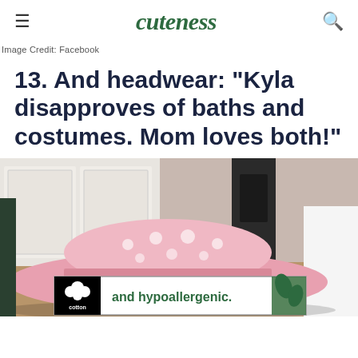cuteness
Image Credit: Facebook
13. And headwear: "Kyla disapproves of baths and costumes. Mom loves both!"
[Figure (photo): A cat or pet wearing a pink polka-dot hat/costume, photographed from above in a bathroom or kitchen setting]
[Figure (other): Advertisement banner: cotton logo with text 'and hypoallergenic.' with green plant imagery]